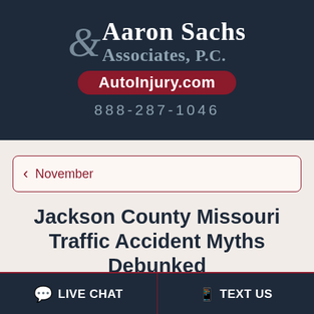Aaron Sachs & Associates, P.C. | AutoInjury.com | 888-287-1046
November
Jackson County Missouri Traffic Accident Myths Debunked
LIVE CHAT | TEXT US